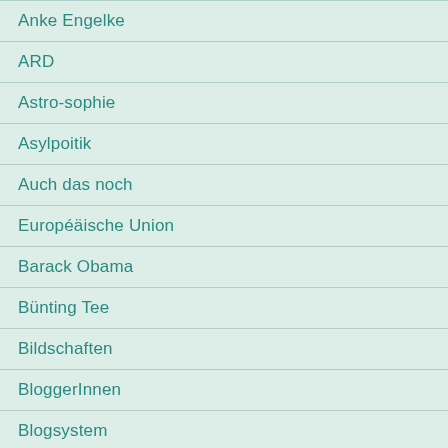Anke Engelke
ARD
Astro-sophie
Asylpoitik
Auch das noch
Européäische Union
Barack Obama
Bünting Tee
Bildschaften
BloggerInnen
Blogsystem
Bonnie Rondel...